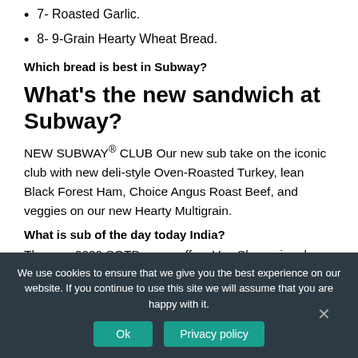7- Roasted Garlic.
8- 9-Grain Hearty Wheat Bread.
Which bread is best in Subway?
What's the new sandwich at Subway?
NEW SUBWAY® CLUB Our new sub take on the iconic club with new deli-style Oven-Roasted Turkey, lean Black Forest Ham, Choice Angus Roast Beef, and veggies on our new Hearty Multigrain.
What is sub of the day today India?
The new 2020 SOTD menu offers Veg Shammi and
We use cookies to ensure that we give you the best experience on our website. If you continue to use this site we will assume that you are happy with it.